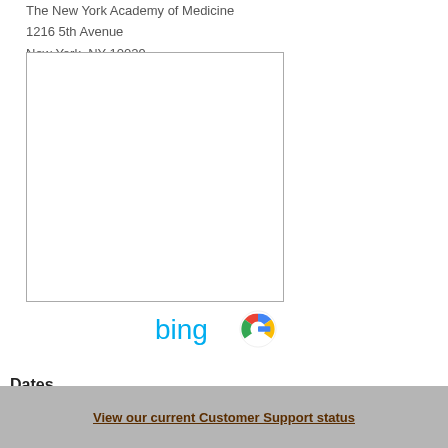The New York Academy of Medicine
1216 5th Avenue
New York, NY 10029
United States
[Figure (other): Empty map placeholder box with gray border]
[Figure (logo): Bing and Google search engine logos side by side]
Dates
View our current Customer Support status